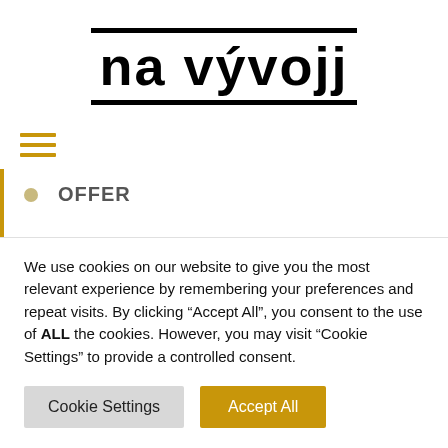[Figure (logo): na vývojj logo with thick black top and bottom borders, bold black text]
[Figure (other): Orange/gold three-line hamburger menu icon]
OFFER
PHOTO GALLERY
RECOMMEND
RESTAURANT
We use cookies on our website to give you the most relevant experience by remembering your preferences and repeat visits. By clicking “Accept All”, you consent to the use of ALL the cookies. However, you may visit “Cookie Settings” to provide a controlled consent.
Cookie Settings | Accept All